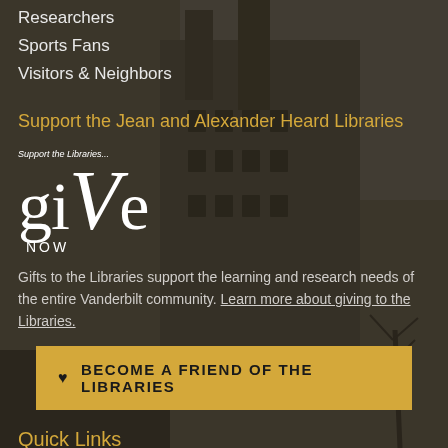[Figure (photo): Dark sepia-toned photograph of a brick university building with chimneys and bare trees in winter, used as background]
Researchers
Sports Fans
Visitors & Neighbors
Support the Jean and Alexander Heard Libraries
[Figure (logo): Vanderbilt Libraries 'giVe NOW' donation logo in white on dark background with text 'Support the Libraries...' above]
Gifts to the Libraries support the learning and research needs of the entire Vanderbilt community. Learn more about giving to the Libraries.
BECOME A FRIEND OF THE LIBRARIES
Quick Links
Hours
About